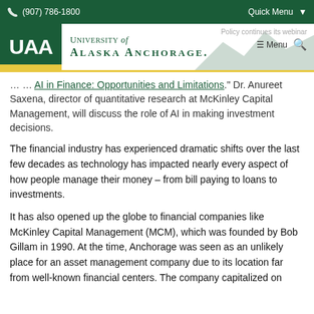(907) 786-1800  Quick Menu  University of Alaska Anchorage
AI in Finance: Opportunities and Limitations." Dr. Anureet Saxena, director of quantitative research at McKinley Capital Management, will discuss the role of AI in making investment decisions.
The financial industry has experienced dramatic shifts over the last few decades as technology has impacted nearly every aspect of how people manage their money – from bill paying to loans to investments.
It has also opened up the globe to financial companies like McKinley Capital Management (MCM), which was founded by Bob Gillam in 1990. At the time, Anchorage was seen as an unlikely place for an asset management company due to its location far from well-known financial centers. The company capitalized on